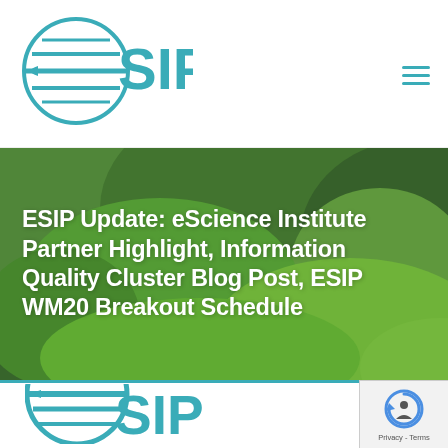ESIP logo and navigation
[Figure (logo): ESIP logo — teal circular globe icon with horizontal lines and the letters SIP in teal, forming the ESIP wordmark]
ESIP Update: eScience Institute Partner Highlight, Information Quality Cluster Blog Post, ESIP WM20 Breakout Schedule
[Figure (logo): Large ESIP logo at bottom of page — teal circular globe icon with horizontal lines and the letters SIP, partially visible in a white card with teal left border]